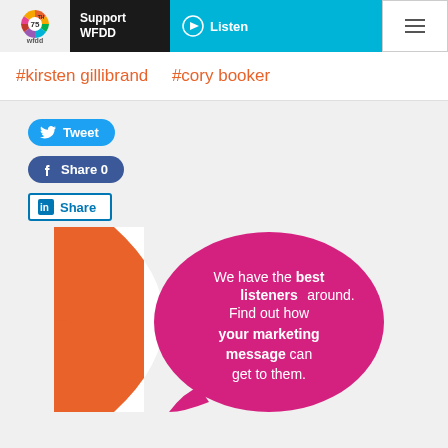WFDD 75th Anniversary - Support WFDD / Listen / Menu
#kirsten gillibrand   #cory booker
Tweet
Share 0
Share
[Figure (infographic): WFDD promotional ad showing orange curved shape on left and magenta speech bubble on right with text: We have the best listeners around. Find out how your marketing message can get to them.]